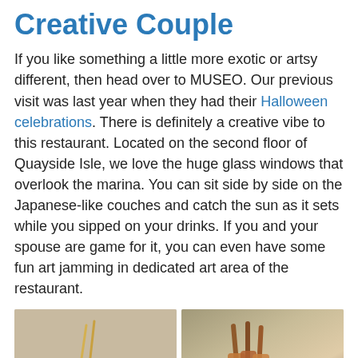Creative Couple
If you like something a little more exotic or artsy different, then head over to MUSEO. Our previous visit was last year when they had their Halloween celebrations. There is definitely a creative vibe to this restaurant. Located on the second floor of Quayside Isle, we love the huge glass windows that overlook the marina. You can sit side by side on the Japanese-like couches and catch the sun as it sets while you sipped on your drinks. If you and your spouse are game for it, you can even have some fun art jamming in dedicated art area of the restaurant.
[Figure (photo): Two food photos side by side: left shows food on skewers/chopsticks on a white plate, right shows grilled meat skewers with a red garnish. A blue arrow icon appears in the bottom right corner of the right photo.]